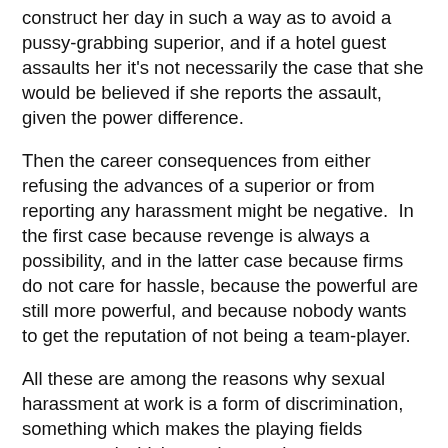construct her day in such a way as to avoid a pussy-grabbing superior, and if a hotel guest assaults her it's not necessarily the case that she would be believed if she reports the assault, given the power difference.
Then the career consequences from either refusing the advances of a superior or from reporting any harassment might be negative.  In the first case because revenge is always a possibility, and in the latter case because firms do not care for hassle, because the powerful are still more powerful, and because nobody wants to get the reputation of not being a team-player.
All these are among the reasons why sexual harassment at work is a form of discrimination, something which makes the playing fields uneven and which can destroy the career prospects of those who have been its targets.  A good reminder when people debate what the proper treatment of harassers should be.**
3.  Orange marmalade.  My usual breakfast for many years was rye bread, orange marmalade and cheese.  I don't care